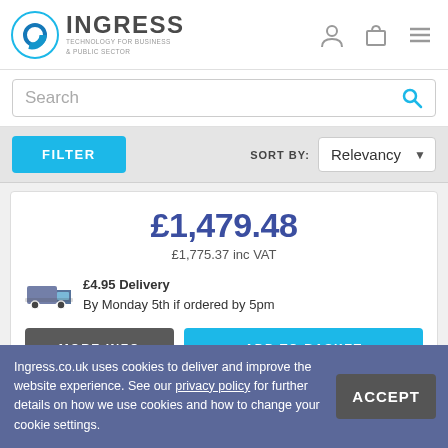[Figure (logo): Ingress Technology for Business & Public Sector logo with blue circular icon]
Search
FILTER   SORT BY: Relevancy
£1,479.48
£1,775.37 inc VAT
£4.95 Delivery
By Monday 5th if ordered by 5pm
MORE INFO
ADD TO BASKET
Ingress.co.uk uses cookies to deliver and improve the website experience. See our privacy policy for further details on how we use cookies and how to change your cookie settings.
ACCEPT